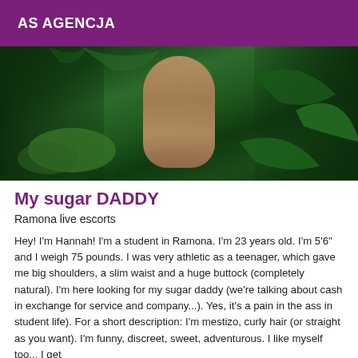AS AGENCJA
[Figure (photo): Outdoor photo of a person in a natural setting with dense green foliage and plants in the background.]
My sugar DADDY
Ramona live escorts
Hey! I'm Hannah! I'm a student in Ramona. I'm 23 years old. I'm 5'6" and I weigh 75 pounds. I was very athletic as a teenager, which gave me big shoulders, a slim waist and a huge buttock (completely natural). I'm here looking for my sugar daddy (we're talking about cash in exchange for service and company...). Yes, it's a pain in the ass in student life). For a short description: I'm mestizo, curly hair (or straight as you want). I'm funny, discreet, sweet, adventurous. I like myself too... I get